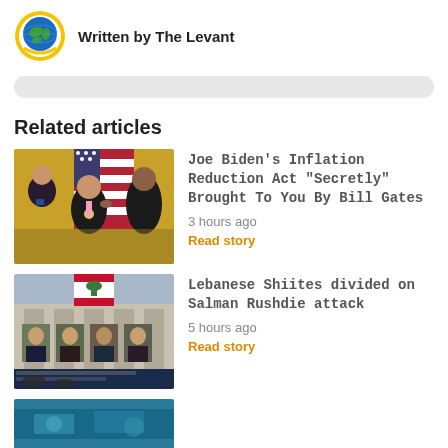[Figure (logo): Globe logo with gold ring for The Levant publication]
Written by The Levant
[Figure (other): Light gray rounded search bar]
Related articles
[Figure (photo): Photo of people at a White House event with US flag, man receiving medal]
Joe Biden’s Inflation Reduction Act “Secretly” Brought To You By Bill Gates
3 hours ago
Read story
[Figure (photo): Photo of a building with portraits of religious figures and Arabic writing]
Lebanese Shiites divided on Salman Rushdie attack
5 hours ago
Read story
[Figure (photo): Partial photo at the bottom, teal/blue tones, partially cut off]